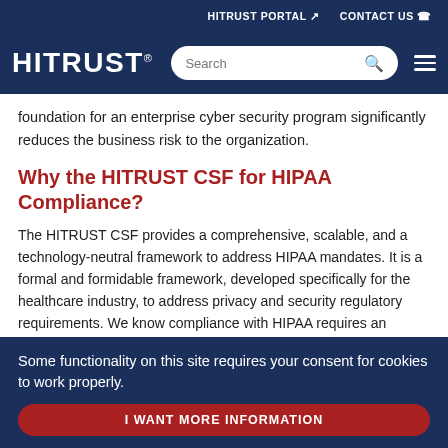HITRUST PORTAL  CONTACT US
HITRUST
foundation for an enterprise cyber security program significantly reduces the business risk to the organization.
Why the HITRUST CSF for HIPAA Compliance?
The HITRUST CSF provides a comprehensive, scalable, and a technology-neutral framework to address HIPAA mandates. It is a formal and formidable framework, developed specifically for the healthcare industry, to address privacy and security regulatory requirements. We know compliance with HIPAA requires an organization to address the following on a continual basis:
Some functionality on this site requires your consent for cookies to work properly.
I WANT MORE INFORMATION